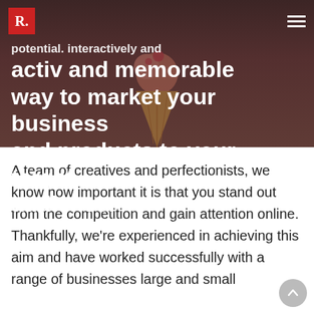[Figure (photo): Hero background image showing an ice cream cone on a muted pinkish-red overlay background]
R. (logo)
potential. interactively and memorable way to market your business and products to your target audience.
A team of creatives and perfectionists, we know how important it is that you stand out from the competition and gain attention online. Thankfully, we're experienced in achieving this aim and have worked successfully with a range of businesses large and small